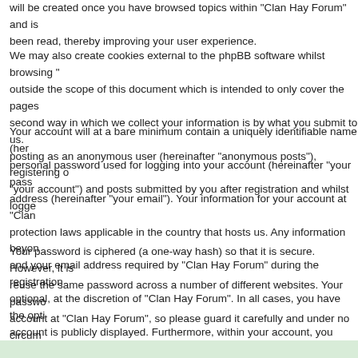will be created once you have browsed topics within "Clan Hay Forum" and is been read, thereby improving your user experience.
We may also create cookies external to the phpBB software whilst browsing " outside the scope of this document which is intended to only cover the pages second way in which we collect your information is by what you submit to us. posting as an anonymous user (hereinafter "anonymous posts"), registering o "your account") and posts submitted by you after registration and whilst logge
Your account will at a bare minimum contain a uniquely identifiable name (her personal password used for logging into your account (hereinafter "your pass address (hereinafter "your email"). Your information for your account at "Clan protection laws applicable in the country that hosts us. Any information beyon and your email address required by "Clan Hay Forum" during the registration optional, at the discretion of "Clan Hay Forum". In all cases, you have the opti account is publicly displayed. Furthermore, within your account, you have the automatically generated emails from the phpBB software.
Your password is ciphered (a one-way hash) so that it is secure. However, it is reuse the same password across a number of different websites. Your passwo account at "Clan Hay Forum", so please guard it carefully and under no circum "Clan Hay Forum", phpBB or another 3rd party, legitimately ask you for your p password for your account, you can use the "I forgot my password" feature pr process will ask you to submit your user name and your email, then the phpB password to reclaim your account.